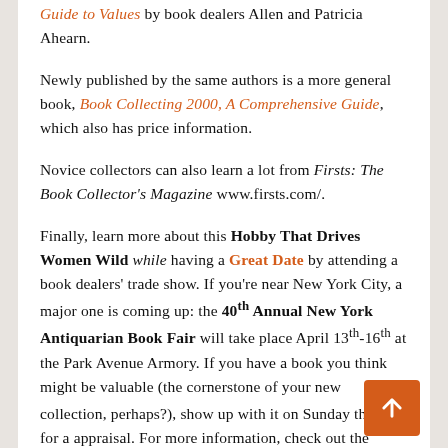Guide to Values by book dealers Allen and Patricia Ahearn.
Newly published by the same authors is a more general book, Book Collecting 2000, A Comprehensive Guide, which also has price information.
Novice collectors can also learn a lot from Firsts: The Book Collector's Magazine www.firsts.com/.
Finally, learn more about this Hobby That Drives Women Wild while having a Great Date by attending a book dealers' trade show. If you're near New York City, a major one is coming up: the 40th Annual New York Antiquarian Book Fair will take place April 13th-16th at the Park Avenue Armory. If you have a book you think might be valuable (the cornerstone of your new collection, perhaps?), show up with it on Sunday the 16th for a appraisal. For more information, check out the website http://www.sanfordsmith.com/nyabf/nyabf.html . If